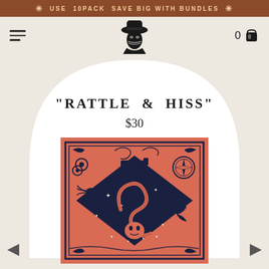USE 10PACK SAVE BIG WITH BUNDLES
[Figure (logo): Bandit-style logo: a figure wearing a wide-brim cowboy hat with a bandana mask, rendered in dark ink]
"RATTLE & HISS"
$30
[Figure (photo): Bandana/neckerchief product in coral/salmon color with ornate western-style tattoo artwork including snakes, skulls, flowers, stars, guns, compass and decorative border in dark navy ink]